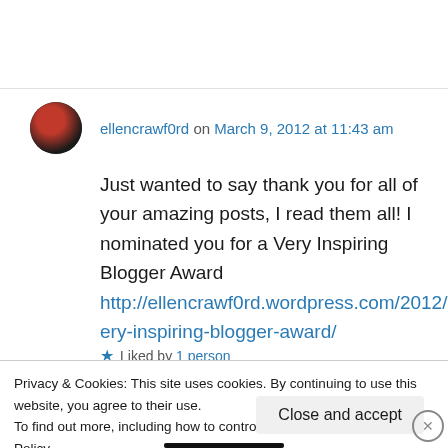ellencrawf0rd on March 9, 2012 at 11:43 am
Just wanted to say thank you for all of your amazing posts, I read them all! I nominated you for a Very Inspiring Blogger Award http://ellencrawf0rd.wordpress.com/2012/03/09/very-inspiring-blogger-award/
★ Liked by 1 person
Privacy & Cookies: This site uses cookies. By continuing to use this website, you agree to their use. To find out more, including how to control cookies, see here: Cookie Policy
Close and accept